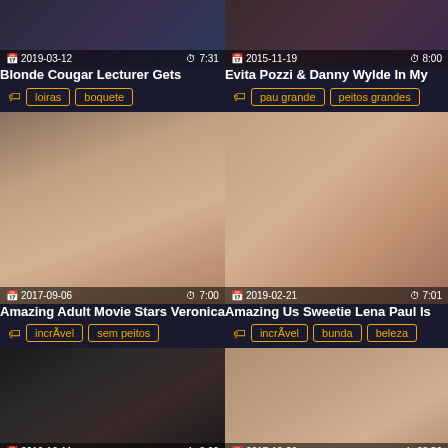[Figure (screenshot): Video thumbnail grid showing adult video listings with dates, durations, titles, and tags]
Blonde Cougar Lecturer Gets
loiras | boquete
Evita Pozzi & Danny Wylde In My
pau grande | peitos grandes
Amazing Adult Movie Stars Veronica
incrÃvel | sem peitos
Amazing Us Sweetie Lena Paul Is
incrÃvel | bunda | beleza